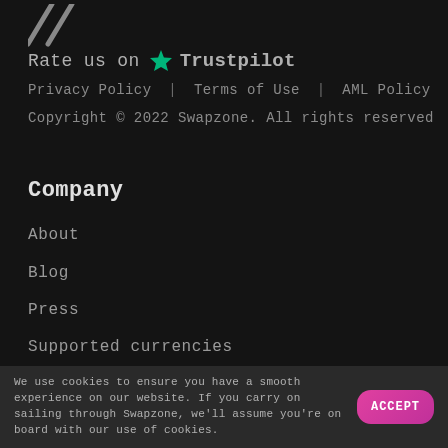[Figure (logo): Partial slash/diagonal marks in grey at top left]
Rate us on ★ Trustpilot
Privacy Policy  |  Terms of Use  |  AML Policy
Copyright © 2022 Swapzone. All rights reserved
Company
About
Blog
Press
Supported currencies
API
We use cookies to ensure you have a smooth experience on our website. If you carry on sailing through Swapzone, we'll assume you're on board with our use of cookies.